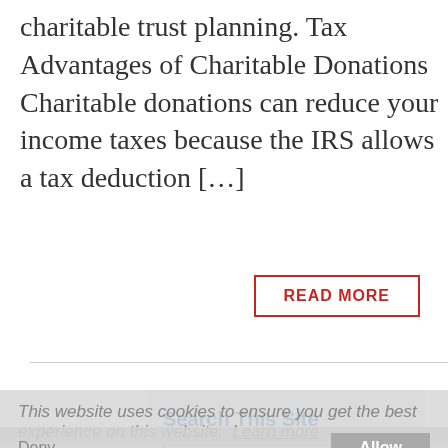charitable trust planning. Tax Advantages of Charitable Donations Charitable donations can reduce your income taxes because the IRS allows a tax deduction […]
READ MORE
Search This Site
This website uses cookies to ensure you get the best experience on this website. Learn more
Deny    Allow